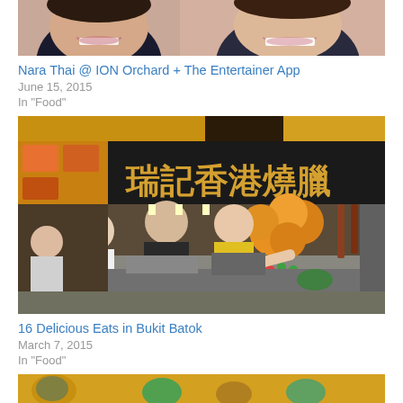[Figure (photo): Cropped photo showing two smiling people (faces partially visible from forehead to mouth)]
Nara Thai @ ION Orchard + The Entertainer App
June 15, 2015
In "Food"
[Figure (photo): Photo of a Hong Kong roasted meat food stall (瑞記香港燒臘) in what appears to be a hawker centre or food court, with orange balloons and customers queuing]
16 Delicious Eats in Bukit Batok
March 7, 2015
In "Food"
[Figure (photo): Partial photo showing food items, appears to be seafood or mixed food dish]